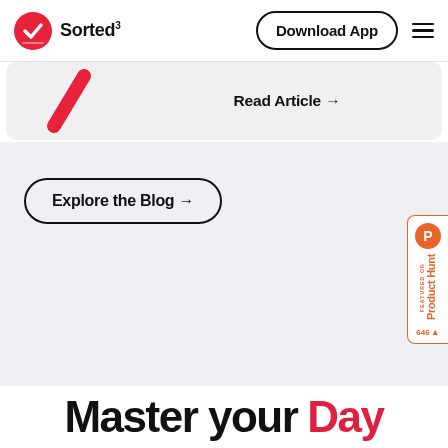Sorted³  Download App
Read Article →
Explore the Blog →
[Figure (other): Product Hunt featured badge with orange P icon, 'FEATURED ON Product Hunt' label, and '646 ▲' upvote count]
Master your Day